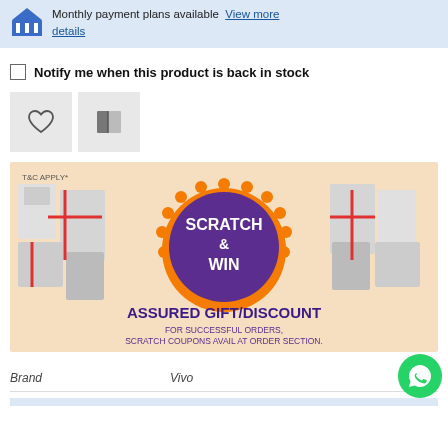Monthly payment plans available View more details
Notify me when this product is back in stock
[Figure (infographic): Scratch & Win - Assured Gift/Discount promotion banner with home appliances wrapped in gift ribbons. T&C Apply text in top left. Central purple scalloped circle with SCRATCH & WIN text. Bottom text: ASSURED GIFT/DISCOUNT FOR SUCCESSFUL ORDERS, SCRATCH COUPONS AVAIL AT ORDER SECTION.]
| Brand | Vivo |
| --- | --- |